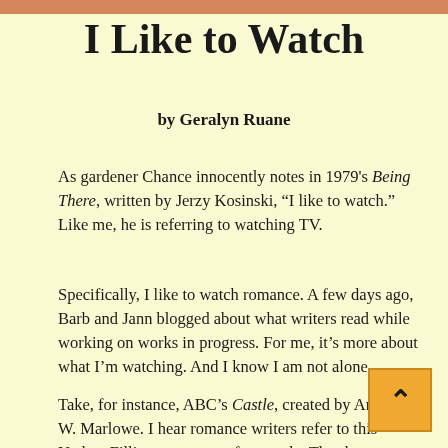I Like to Watch
by Geralyn Ruane
As gardener Chance innocently notes in 1979's Being There, written by Jerzy Kosinski, “I like to watch.” Like me, he is referring to watching TV.
Specifically, I like to watch romance. A few days ago, Barb and Jann blogged about what writers read while working on works in progress. For me, it’s more about what I’m watching. And I know I am not alone.
Take, for instance, ABC’s Castle, created by Andrew W. Marlowe. I hear romance writers refer to this Nathan Fillion treat pretty frequently. The show reminds me of one of my eighties favorites, Remington Steele, co-created by Robert Butler and Michael Gleason,  with its by-the-book crime fighter and charming rascal of a sidekick motif. Despite Castle’s silliness, or maybe because of it, the light cop